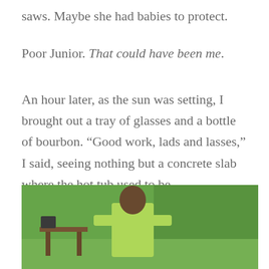saws. Maybe she had babies to protect.
Poor Junior. That could have been me.
An hour later, as the sun was setting, I brought out a tray of glasses and a bottle of bourbon. “Good work, lads and lasses,” I said, seeing nothing but a concrete slab where the hot tub used to be.
[Figure (photo): A person in a bright green t-shirt standing outdoors near a wooden table, surrounded by lush green trees and vegetation.]